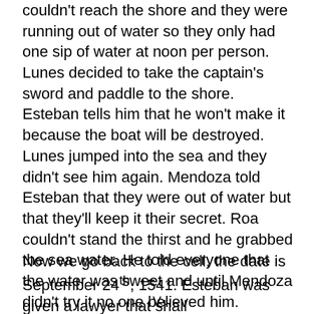couldn't reach the shore and they were running out of water so they only had one sip of water at noon per person. Lunes decided to take the captain's sword and paddle to the shore. Esteban tells him that he won't make it because the boat will be destroyed. Lunes jumped into the sea and they didn't see him again. Mendoza told Esteban that they were out of water but that they'll keep it their secret. Roa couldn't stand the thirst and he grabbed the sea water. He told everyone that the water was sweet and until Mendoza didn't try it no one believed him.
Now we go back to the cell, the date is September 24th, 1541. Esteban was given a lawyer that shall
V